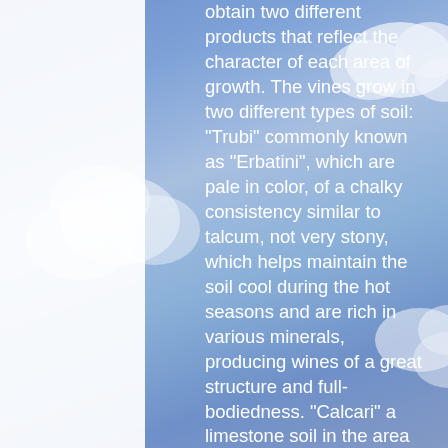[Figure (illustration): Blue sky with white clouds background, with a white vertical strip on the left side]
obtain two different products that reflect the character of each area of growth. The vines grow in two different types of soil: "Trubi" commonly known as "Erbatini", which are pale in color, of a chalky consistency similar to talcum, not very stony, which helps maintain the soil cool during the hot seasons and are rich in various minerals, producing wines of a great structure and full-bodiedness. "Calcari" a limestone soil in the area of "Scintilia" fertile and stony, which confers to the wine, freshness, and drinkability. The Region: Sicily Sicily is Italy's biggest island and also its biggest region. It's separated from the mainland by the Strait of Messina (Stretto di Messina). The capital of Sicily is Palermo, a majestically decadent